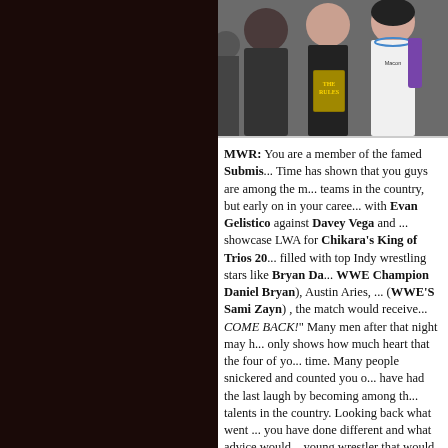[Figure (photo): A group photo of wrestlers at what appears to be an event, one person holding a book titled 'The Rules'. People are making gestures at the camera.]
MWR: You are a member of the famed Submis... Time has shown that you guys are among the most... teams in the country, but early on in your career... with Evan Gelistico against Davey Vega and ... showcase LWA for Chikara's King of Trios 20... filled with top Indy wrestling stars like Bryan Da... WWE Champion Daniel Bryan), Austin Aries, ... (WWE'S Sami Zayn) , the match would receive... COME BACK!" Many men after that night may h... only shows how much heart that the four of yo... time. Many people snickered and counted you o... have had the last laugh by becoming among th... talents in the country. Looking back what went ... you have done different and what advice would... young wrestler that would experience such a si...
Pierre: I would say that you cannot let what pe... When that happened to be honest it didn't both... the other guys for different reasons. Vega beca...